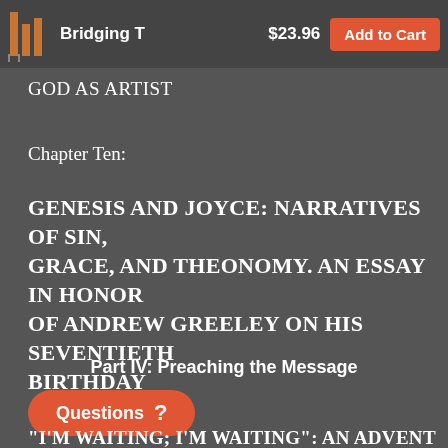Bridging T   $23.96   Add to Cart
GOD AS ARTIST
Chapter Ten:
GENESIS AND JOYCE: NARRATIVES OF SIN, GRACE, AND THEONOMY. AN ESSAY IN HONOR OF ANDREW GREELEY ON HIS SEVENTIETH BIRTHDAY
Part IV: Preaching the Message
"I'M WAITING; I'M WAITING": AN ADVENT